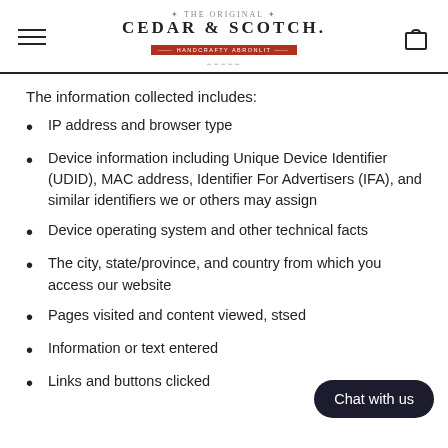Cedar & Scotch
The information collected includes:
IP address and browser type
Device information including Unique Device Identifier (UDID), MAC address, Identifier For Advertisers (IFA), and similar identifiers we or others may assign
Device operating system and other technical facts
The city, state/province, and country from which you access our website
Pages visited and content viewed, st…sed
Information or text entered
Links and buttons clicked